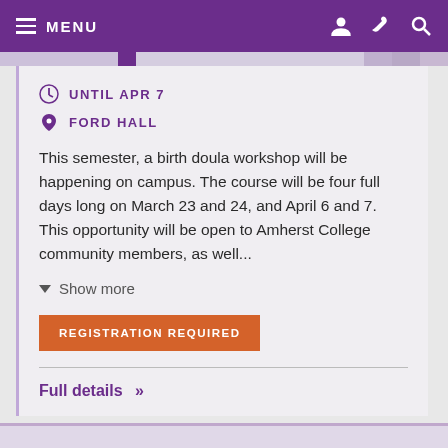MENU
UNTIL APR 7
FORD HALL
This semester, a birth doula workshop will be happening on campus. The course will be four full days long on March 23 and 24, and April 6 and 7. This opportunity will be open to Amherst College community members, as well...
Show more
REGISTRATION REQUIRED
Full details »